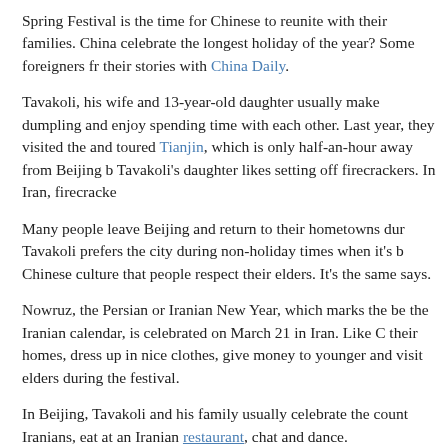Spring Festival is the time for Chinese to reunite with their families. China celebrate the longest holiday of the year? Some foreigners fr... their stories with China Daily.
Tavakoli, his wife and 13-year-old daughter usually make dumplings and enjoy spending time with each other. Last year, they visited the and toured Tianjin, which is only half-an-hour away from Beijing b... Tavakoli's daughter likes setting off firecrackers. In Iran, firecracke...
Many people leave Beijing and return to their hometowns dur... Tavakoli prefers the city during non-holiday times when it's b... Chinese culture that people respect their elders. It's the same... says.
Nowruz, the Persian or Iranian New Year, which marks the beginning of the Iranian calendar, is celebrated on March 21 in Iran. Like Chinese, their homes, dress up in nice clothes, give money to younger... and visit elders during the festival.
In Beijing, Tavakoli and his family usually celebrate the count... Iranians, eat at an Iranian restaurant, chat and dance.
Tavakoli works in Beijing and has lived in the city for about th... moving to China, Tavakoli didn't speak any Mandarin but was... because his wife's brother is married to a Chinese woman.